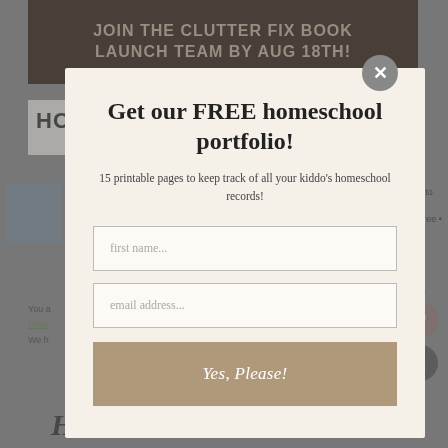[Figure (screenshot): Background website page showing a book launch team banner, homeschool navigation header, thumbnail image, and partial page content, overlaid with a semi-transparent dim overlay]
Get our FREE homeschool portfolio!
15 printable pages to keep track of all your kiddo's homeschool records!
first name...
email address...
Yes, Please!